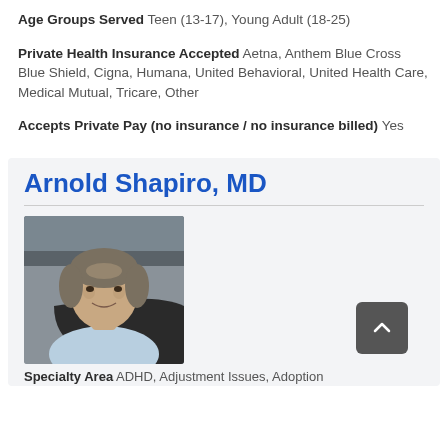Age Groups Served Teen (13-17), Young Adult (18-25)
Private Health Insurance Accepted Aetna, Anthem Blue Cross Blue Shield, Cigna, Humana, United Behavioral, United Health Care, Medical Mutual, Tricare, Other
Accepts Private Pay (no insurance / no insurance billed) Yes
Arnold Shapiro, MD
[Figure (photo): Professional headshot of Arnold Shapiro, MD — middle-aged man with gray-streaked hair, wearing a light blue shirt, seated in a dark chair, smiling.]
Specialty Area ADHD, Adjustment Issues, Adoption